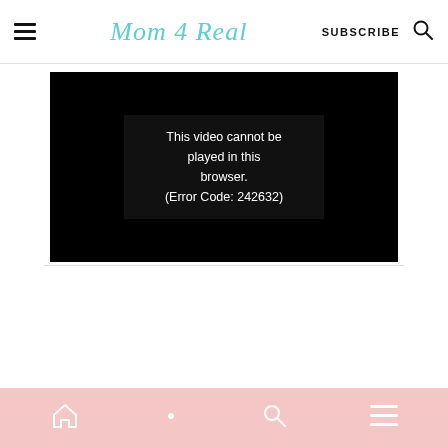Mom 4 Real — SUBSCRIBE
[Figure (screenshot): Video player error message on black background: 'This video cannot be played in this browser. (Error Code: 242632)']
Navigation footer bar with home, search, and menu icons on pink background